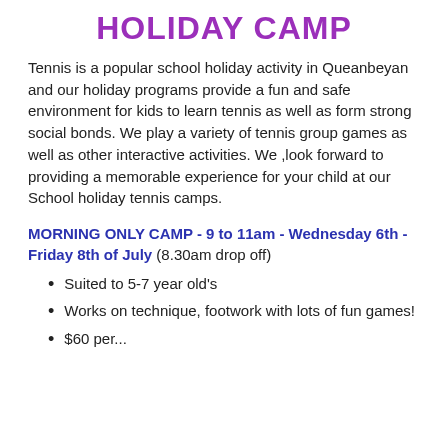HOLIDAY CAMP
Tennis is a popular school holiday activity in Queanbeyan and our holiday programs provide a fun and safe environment for kids to learn tennis as well as form strong social bonds. We play a variety of tennis group games as well as other interactive activities. We ,look forward to providing a memorable experience for your child at our School holiday tennis camps.
MORNING ONLY CAMP - 9 to 11am - Wednesday 6th - Friday 8th of July (8.30am drop off)
Suited to 5-7 year old's
Works on technique, footwork with lots of fun games!
$60 per...